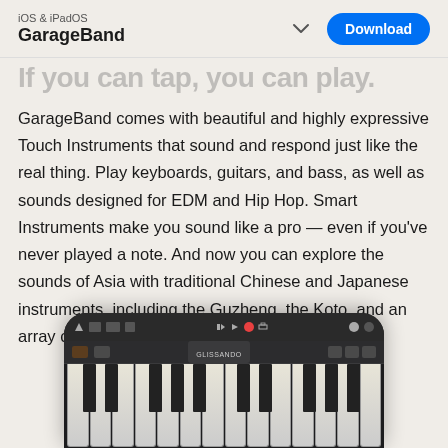iOS & iPadOS
GarageBand
If you can tap, you can play.
GarageBand comes with beautiful and highly expressive Touch Instruments that sound and respond just like the real thing. Play keyboards, guitars, and bass, as well as sounds designed for EDM and Hip Hop. Smart Instruments make you sound like a pro — even if you've never played a note. And now you can explore the sounds of Asia with traditional Chinese and Japanese instruments, including the Guzheng, the Koto, and an array of Taiko drums.
[Figure (screenshot): Screenshot of GarageBand app on iPhone showing piano keyboard interface with toolbar controls]